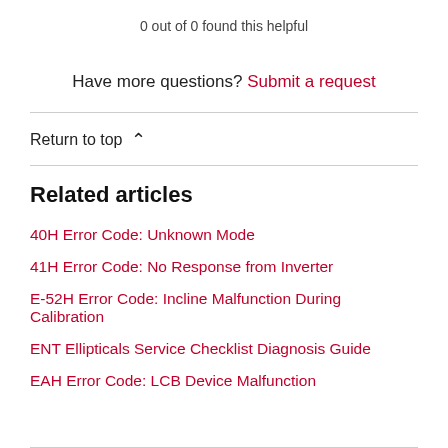0 out of 0 found this helpful
Have more questions? Submit a request
Return to top
Related articles
40H Error Code: Unknown Mode
41H Error Code: No Response from Inverter
E-52H Error Code: Incline Malfunction During Calibration
ENT Ellipticals Service Checklist Diagnosis Guide
EAH Error Code: LCB Device Malfunction